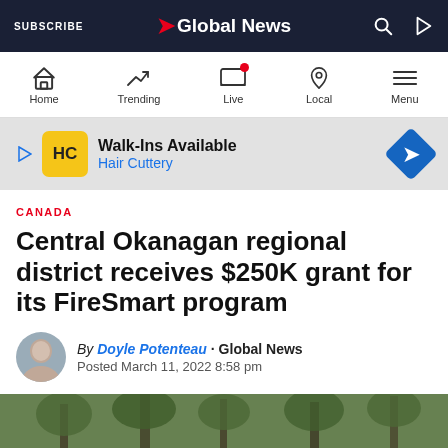SUBSCRIBE | Global News
[Figure (screenshot): Global News website navigation bar with Home, Trending, Live, Local, Menu icons]
[Figure (infographic): Advertisement banner for Hair Cuttery - Walk-Ins Available]
CANADA
Central Okanagan regional district receives $250K grant for its FireSmart program
By Doyle Potenteau · Global News
Posted March 11, 2022 8:58 pm
[Figure (photo): Forest/tree background photo at bottom of article]